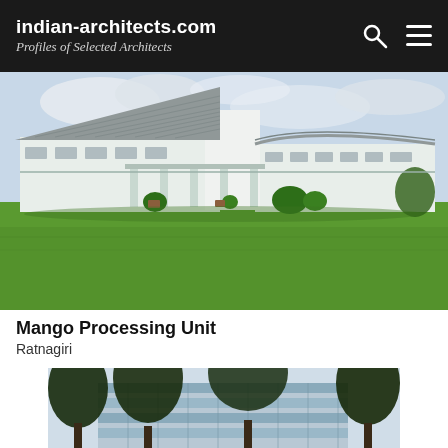indian-architects.com
Profiles of Selected Architects
[Figure (photo): Exterior view of Mango Processing Unit building in Ratnagiri. White modernist building with a corrugated sloped metal roof, colonnade/pillars at entrance, green lawn in foreground, cloudy sky background.]
Mango Processing Unit
Ratnagiri
[Figure (photo): Partial view of a multi-storey building with glass facade, surrounded by trees, photographed from below against a bright sky.]